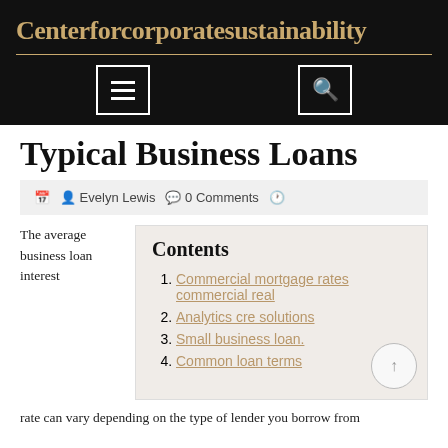Centerforcorporatesustainability
Typical Business Loans
Evelyn Lewis   0 Comments
Commercial mortgage rates commercial real
Analytics cre solutions
Small business loan.
Common loan terms
The average business loan interest rate can vary depending on the type of lender you borrow from